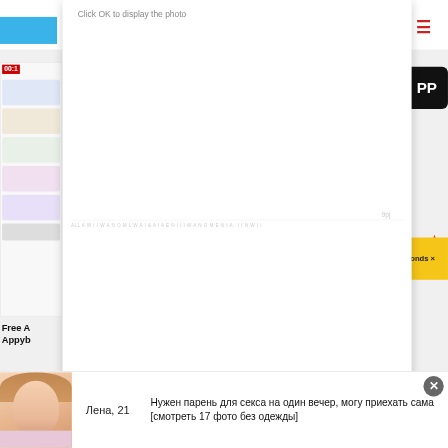[Figure (screenshot): Browser screenshot showing a website with a modal dialog saying 'Click OK to display the photo', overlaying a page with a phone mockup image, navigation bar, and partial content. An ad banner at the bottom shows a woman named Лена, 21 with Russian text about meeting.]
Click OK to display the photo
9pj
2sd
Free A
Appyb
2
conds ×
PP
00:1
Лена, 21
Нужен парень для секса на один вечер, могу приехать сама [смотреть 17 фото без одежды]